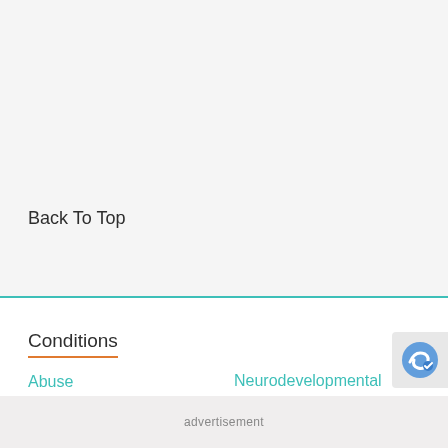Back To Top
Conditions
Abuse
Neurodevelopmental Disorders
ADD-ADHD
OCD Related Disord...
advertisement